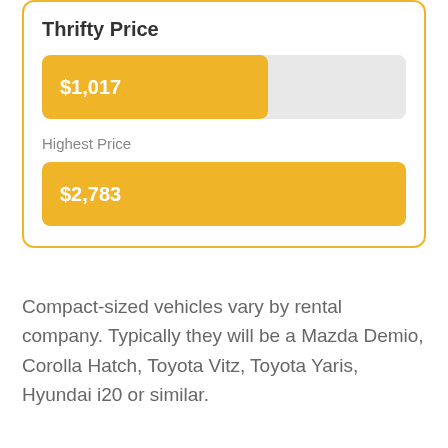Thrifty Price
[Figure (bar-chart): Thrifty Price]
Highest Price
[Figure (bar-chart): Highest Price]
Compact-sized vehicles vary by rental company. Typically they will be a Mazda Demio, Corolla Hatch, Toyota Vitz, Toyota Yaris, Hyundai i20 or similar.